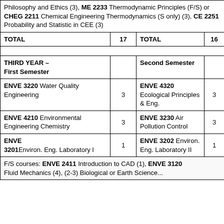| Course | Hrs | Course | Hrs |
| --- | --- | --- | --- |
| Philosophy and Ethics (3), ME 2233 Thermodynamic Principles (F/S) or CHEG 2211 Chemical Engineering Thermodynamics (S only) (3), CE 2251 Probability and Statistic in CEE (3) |  |  |  |
| TOTAL | 17 | TOTAL | 16 |
|  |  |  |  |
| THIRD YEAR – First Semester |  | Second Semester |  |
| ENVE 3220 Water Quality Engineering | 3 | ENVE 4320 Ecological Principles & Eng. | 3 |
| ENVE 4210 Environmental Engineering Chemistry | 3 | ENVE 3230 Air Pollution Control | 3 |
| ENVE 3201 Environ. Eng. Laboratory I | 1 | ENVE 3202 Environ. Eng. Laboratory II | 1 |
F/S courses: ENVE 2411 Introduction to CAD (1), ENVE 3120 Fluid Mechanics (4), (2-3) Biological or Earth Science...